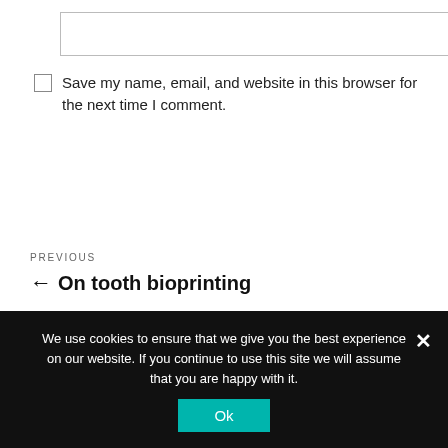[text input box]
Save my name, email, and website in this browser for the next time I comment.
Post Comment
PREVIOUS
← On tooth bioprinting
We use cookies to ensure that we give you the best experience on our website. If you continue to use this site we will assume that you are happy with it.
Ok